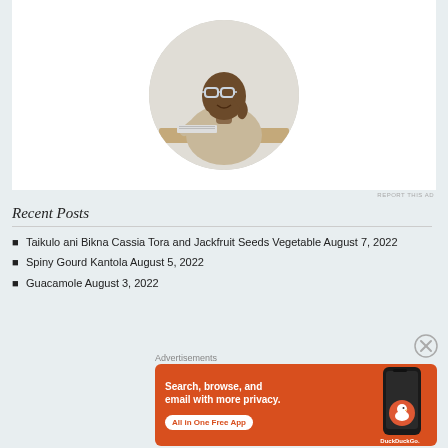[Figure (photo): Circular cropped photo of a smiling man with glasses, wearing a beige t-shirt, sitting at a desk with his hand near his face, looking upward. White background.]
REPORT THIS AD
Recent Posts
Taikulo ani Bikna Cassia Tora and Jackfruit Seeds Vegetable August 7, 2022
Spiny Gourd Kantola August 5, 2022
Guacamole August 3, 2022
Advertisements
[Figure (infographic): DuckDuckGo advertisement banner on orange/red background. Text reads 'Search, browse, and email with more privacy. All in One Free App'. Shows a dark smartphone and the DuckDuckGo logo/duck icon and text.]